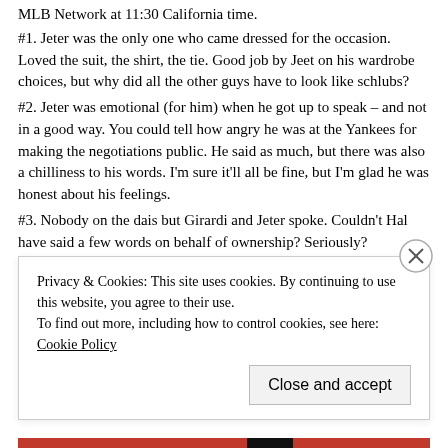MLB Network at 11:30 California time.
#1. Jeter was the only one who came dressed for the occasion. Loved the suit, the shirt, the tie. Good job by Jeet on his wardrobe choices, but why did all the other guys have to look like schlubs?
#2. Jeter was emotional (for him) when he got up to speak – and not in a good way. You could tell how angry he was at the Yankees for making the negotiations public. He said as much, but there was also a chilliness to his words. I'm sure it'll all be fine, but I'm glad he was honest about his feelings.
#3. Nobody on the dais but Girardi and Jeter spoke. Couldn't Hal have said a few words on behalf of ownership? Seriously?
#4. Cashman kept glancing at his phone while Jeter was talking. I found it annoying. Granted, he's in the middle of the winter meetings and Cliff Lee's future is hanging in the balance, but still. Show a little respect, dude.
Privacy & Cookies: This site uses cookies. By continuing to use this website, you agree to their use. To find out more, including how to control cookies, see here: Cookie Policy
Close and accept